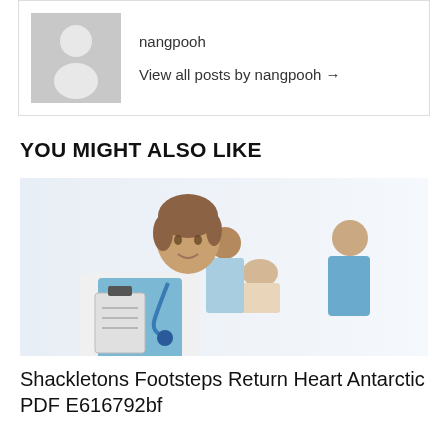nangpooh
View all posts by nangpooh →
YOU MIGHT ALSO LIKE
[Figure (photo): Medical professionals: a female doctor in white coat with stethoscope in the foreground, a male patient and a nurse in the background]
Shackletons Footsteps Return Heart Antarctic PDF E616792bf